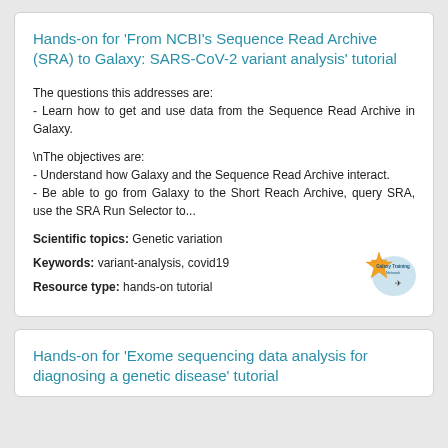Hands-on for 'From NCBI's Sequence Read Archive (SRA) to Galaxy: SARS-CoV-2 variant analysis' tutorial
The questions this addresses are:
- Learn how to get and use data from the Sequence Read Archive in Galaxy.
\nThe objectives are:
- Understand how Galaxy and the Sequence Read Archive interact.
- Be able to go from Galaxy to the Short Reach Archive, query SRA, use the SRA Run Selector to...
Scientific topics: Genetic variation
Keywords: variant-analysis, covid19
Resource type: hands-on tutorial
[Figure (logo): Galaxy Training Network logo with star]
Hands-on for 'Exome sequencing data analysis for diagnosing a genetic disease' tutorial